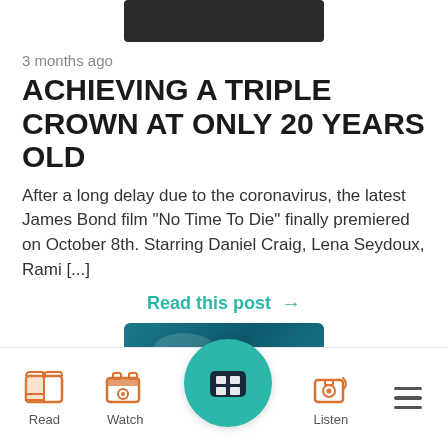[Figure (photo): Partially visible dark image at the top of the page, cropped]
3 months ago
ACHIEVING A TRIPLE CROWN AT ONLY 20 YEARS OLD
After a long delay due to the coronavirus, the latest James Bond film “No Time To Die” finally premiered on October 8th. Starring Daniel Craig, Lena Seydoux, Rami [...]
Read this post →
[Figure (photo): Partially visible blue/teal water image at the bottom section]
[Figure (other): Bottom navigation bar with Read, Watch, center teal media button, Listen, and hamburger menu icons]